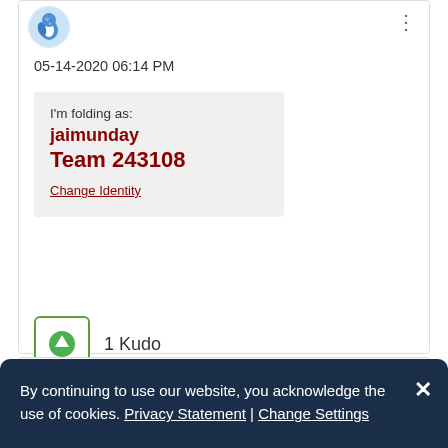[Figure (illustration): User avatar icon with blue bird/penguin graphic in circular frame]
05-14-2020 06:14 PM
I'm folding as:
jaimunday
Team 243108
Change Identity
1 Kudo
By continuing to use our website, you acknowledge the use of cookies. Privacy Statement | Change Settings